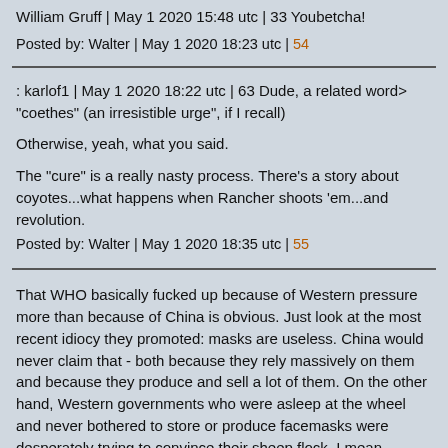William Gruff | May 1 2020 15:48 utc | 33 Youbetcha!
Posted by: Walter | May 1 2020 18:23 utc | 54
: karlof1 | May 1 2020 18:22 utc | 63 Dude, a related word> "coethes" (an irresistible urge", if I recall)

Otherwise, yeah, what you said.

The "cure" is a really nasty process. There's a story about coyotes...what happens when Rancher shoots 'em...and revolution.
Posted by: Walter | May 1 2020 18:35 utc | 55
That WHO basically fucked up because of Western pressure more than because of China is obvious. Just look at the most recent idiocy they promoted: masks are useless. China would never claim that - both because they rely massively on them and because they produce and sell a lot of them. On the other hand, Western governments who were asleep at the wheel and never bothered to store or produce facemasks were desperately trying to convince their sheep flock, I mean, people, that they were all good, managed the crisis as best as anyone could, and that there wasn't any shortage of masks because these weren't useful to begin with.